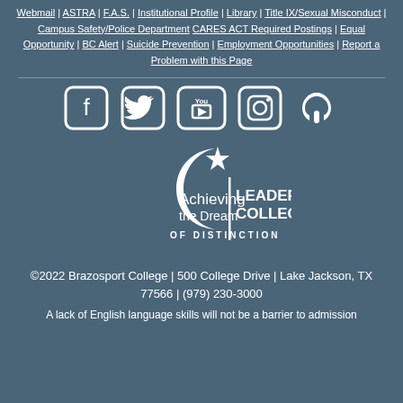Webmail | ASTRA | F.A.S. | Institutional Profile | Library | Title IX/Sexual Misconduct | Campus Safety/Police Department CARES ACT Required Postings | Equal Opportunity | BC Alert | Suicide Prevention | Employment Opportunities | Report a Problem with this Page
[Figure (illustration): Social media icons: Facebook, Twitter, YouTube, Instagram, Phone]
[Figure (logo): Achieving the Dream LEADER COLLEGE OF DISTINCTION logo]
©2022 Brazosport College | 500 College Drive | Lake Jackson, TX 77566 | (979) 230-3000
A lack of English language skills will not be a barrier to admission